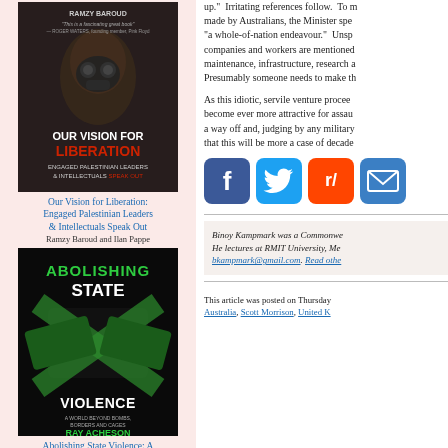[Figure (illustration): Book cover: Our Vision for Liberation – Engaged Palestinian Leaders & Intellectuals Speak Out by Ramzy Baroud and Ilan Pappe. Dark atmospheric cover with a figure.]
Our Vision for Liberation: Engaged Palestinian Leaders & Intellectuals Speak Out
Ramzy Baroud and Ilan Pappe
[Figure (illustration): Book cover: Abolishing State Violence: A World Beyond Bombs, Borders, and Cages by Ray Acheson. Dark cover with green crossed-out imagery.]
Abolishing State Violence: A World Beyond Bombs, Borders, and Cages
Ray Acheson
up." Irritating references follow. To made by Australians, the Minister spe "a whole-of-nation endeavour." Unsp companies and workers are mentioned maintenance, infrastructure, research a Presumably someone needs to make th
As this idiotic, servile venture procee become ever more attractive for assau a way off and, judging by any military that this will be more a case of decade
[Figure (other): Social media sharing icons: Facebook (blue), Twitter (blue), Reddit (orange), Email (blue)]
Binoy Kampmark was a Commonwe He lectures at RMIT University, Me bkampmark@gmail.com. Read othe
This article was posted on Thursday Australia, Scott Morrison, United K